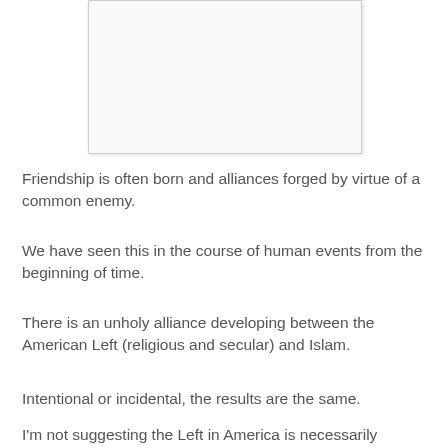[Figure (other): A blank or mostly white image/photo placeholder with a light border and subtle shadow]
Friendship is often born and alliances forged by virtue of a common enemy.
We have seen this in the course of human events from the beginning of time.
There is an unholy alliance developing between the American Left (religious and secular) and Islam.
Intentional or incidental, the results are the same.
I'm not suggesting the Left in America is necessarily embracing the beliefs of Islam, (however some are) but an alliance is forming because they share a common enemy...